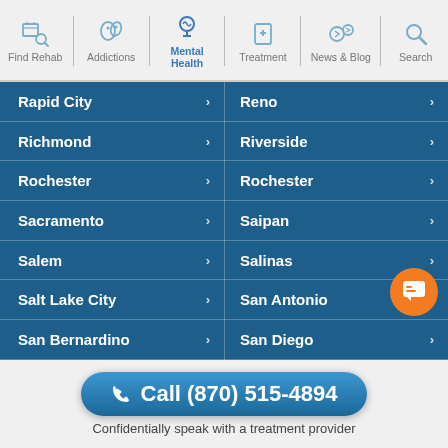Find Rehab | Addictions | Mental Health | Treatment | News & Blog | Search
Rapid City
Reno
Richmond
Riverside
Rochester
Rochester
Sacramento
Saipan
Salem
Salinas
Salt Lake City
San Antonio
San Bernardino
San Diego
Call (870) 515-4894
Confidentially speak with a treatment provider